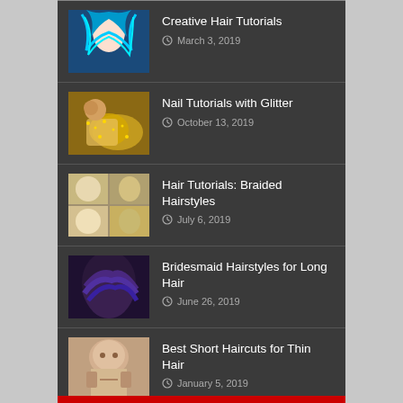Creative Hair Tutorials
March 3, 2019
Nail Tutorials with Glitter
October 13, 2019
Hair Tutorials: Braided Hairstyles
July 6, 2019
Bridesmaid Hairstyles for Long Hair
June 26, 2019
Best Short Haircuts for Thin Hair
January 5, 2019